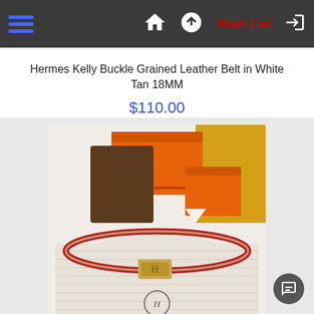Navigation bar with hamburger menu, home icon, up icon, Wish List, and login icon
Hermes Kelly Buckle Grained Leather Belt in White Tan 18MM
$110.00
[Figure (photo): Photo of a red Hermes Kelly Buckle Grained Leather Belt with gold buckle, displayed on a cream fabric pouch with Hermes logo, with orange Hermes boxes in the background.]